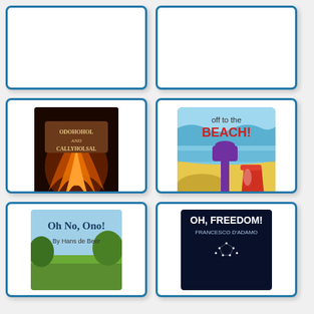[Figure (illustration): Top-left book card, mostly blank/cut off]
[Figure (illustration): Top-right book card, mostly blank/cut off]
[Figure (illustration): Book cover for Odohohol and Cally Rascal - dark fantasy cover with swirling orange flames and creatures]
Odohohol and Cally Rascal
[Figure (illustration): Book cover for Off to the Beach! - colorful children's book with blue waves, yellow sand, purple shovel and red bucket]
Off to the Beach!
[Figure (illustration): Book cover for Oh No, Ono! by Hans de Beer - illustrated children's book with green and sky blue tones]
[Figure (illustration): Book cover for Oh, Freedom! by Francesco D'Adamo - dark navy cover with star constellation and white text]